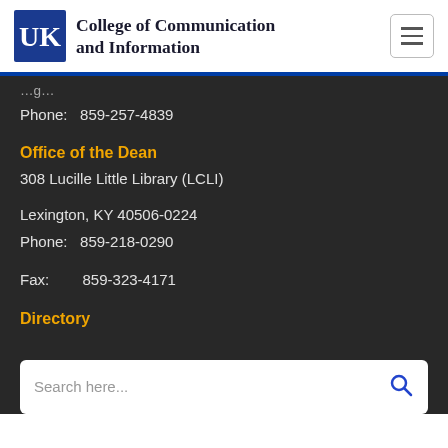College of Communication and Information
Phone: 859-257-4839
Office of the Dean
308 Lucille Little Library (LCLI)
Lexington, KY 40506-0224
Phone: 859-218-0290
Fax: 859-323-4171
Directory
Search here...